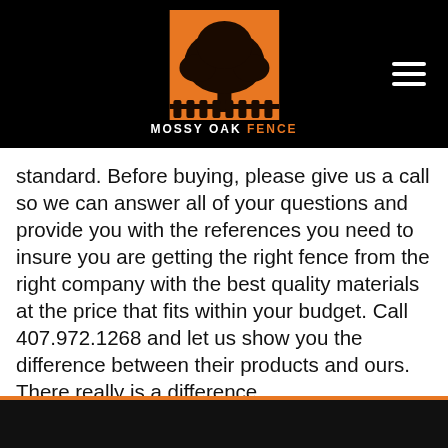[Figure (logo): Mossy Oak Fence logo: orange square with black silhouette tree on top, text 'MOSSY OAK FENCE' below in white with 'FENCE' in orange]
standard. Before buying, please give us a call so we can answer all of your questions and provide you with the references you need to insure you are getting the right fence from the right company with the best quality materials at the price that fits within your budget. Call 407.972.1268 and let us show you the difference between their products and ours. There really is a difference.